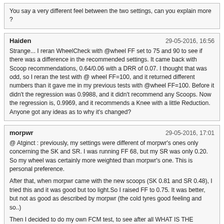You say a very different feel between the two settings, can you explain more ?
Haiden	29-05-2016, 16:56
Strange... I reran WheelCheck with @wheel FF set to 75 and 90 to see if there was a difference in the recommended settings. It came back with Scoop recommendations, 0.64/0.06 with a DRR of 0.07. I thought that was odd, so I reran the test with @ wheel FF=100, and it returned different numbers than it gave me in my previous tests with @wheel FF=100. Before it didn't the regression was 0.9988, and it didn't recommend any Scoops. Now the regression is, 0.9969, and it recommends a Knee with a little Reduction. Anyone got any ideas as to why it's changed?
morpwr	29-05-2016, 17:01
@ Atginct : previously, my settings were different of morpwr's ones only concerning the SK and SR. I was running FF 68, but my SR was only 0.20. So my wheel was certainly more weighted than morpwr's one. This is personal preference.

After that, when morpwr came with the new scoops (SK 0.81 and SR 0.48), I tried this and it was good but too light.So I raised FF to 0.75. It was better, but not as good as described by morpwr (the cold tyres good feeling and so..)

Then I decided to do my own FCM test, to see after all WHAT IS THE DIFFERENCE BETWEEN MY WHEEL AND morpwr's ONE.

morpwr's T300 : SK 0.81 - SR 0.48 - DRR 0.10

my T300 : SK 0.83 - SR 0.46 - DRR 0.09

This is wheel to wheel difference, not so huge, but noticable

You say a very different feel between the two settings, can you explain more ?